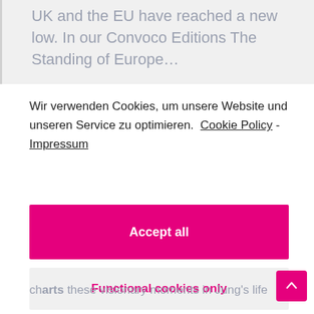UK and the EU have reached a new low. In our Convoco Editions The Standing of Europe…
Wir verwenden Cookies, um unsere Website und unseren Service zu optimieren.  Cookie Policy - Impressum
Accept all
Functional cookies only
Show settings
charts these visionary moments in Jung's life